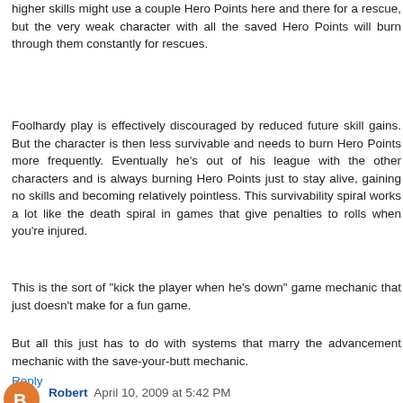higher skills might use a couple Hero Points here and there for a rescue, but the very weak character with all the saved Hero Points will burn through them constantly for rescues.
Foolhardy play is effectively discouraged by reduced future skill gains. But the character is then less survivable and needs to burn Hero Points more frequently. Eventually he's out of his league with the other characters and is always burning Hero Points just to stay alive, gaining no skills and becoming relatively pointless. This survivability spiral works a lot like the death spiral in games that give penalties to rolls when you're injured.
This is the sort of "kick the player when he's down" game mechanic that just doesn't make for a fun game.
But all this just has to do with systems that marry the advancement mechanic with the save-your-butt mechanic.
Reply
Robert  April 10, 2009 at 5:42 PM